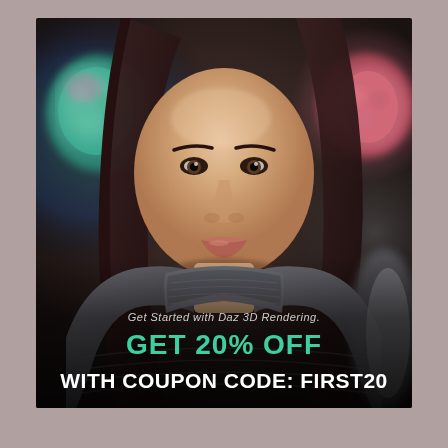[Figure (illustration): A photorealistic 3D rendered portrait of a young woman with long dark hair, wearing a grey textured turtleneck sweater and colorful fuzzy earmuffs. The background is dark and blurred with colorful bokeh. Text overlaid at the bottom reads: 'Get Started with Daz 3D Rendering.' in white italic, 'GET 20% OFF' in large teal/green bold text, and 'WITH COUPON CODE: FIRST20' in large bold white text.]